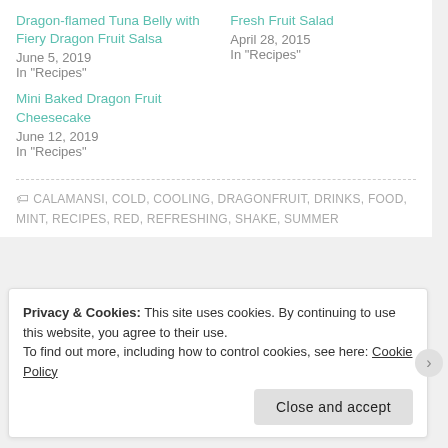Dragon-flamed Tuna Belly with Fiery Dragon Fruit Salsa
June 5, 2019
In "Recipes"
Fresh Fruit Salad
April 28, 2015
In "Recipes"
Mini Baked Dragon Fruit Cheesecake
June 12, 2019
In "Recipes"
CALAMANSI, COLD, COOLING, DRAGONFRUIT, DRINKS, FOOD, MINT, RECIPES, RED, REFRESHING, SHAKE, SUMMER
Privacy & Cookies: This site uses cookies. By continuing to use this website, you agree to their use. To find out more, including how to control cookies, see here: Cookie Policy